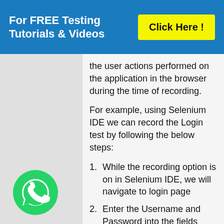For FREE Testing Tutorials & Videos   Click Here!
the user actions performed on the application in the browser during the time of recording.
For example, using Selenium IDE we can record the Login test by following the below steps:
1. While the recording option is on in Selenium IDE, we will navigate to login page
2. Enter the Username and Password into the fields
3. Click on Login button
[Figure (logo): WhatsApp logo circle (green background with phone handset icon)]